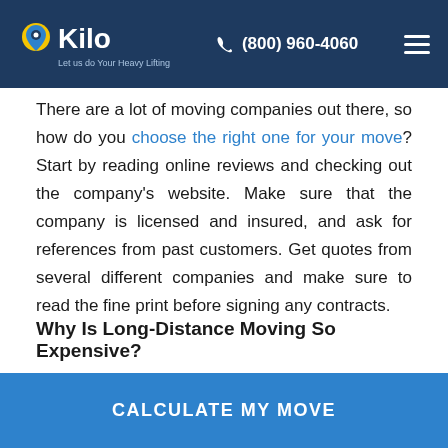Kilo Moving — (800) 960-4060
There are a lot of moving companies out there, so how do you choose the right one for your move? Start by reading online reviews and checking out the company's website. Make sure that the company is licensed and insured, and ask for references from past customers. Get quotes from several different companies and make sure to read the fine print before signing any contracts.
Why Is Long-Distance Moving So Expensive?
There are a few factors that contribute to the high cost of long distance moving. First, the distance you're moving is a big factor — the farther you move, the more
CALCULATE MY MOVE